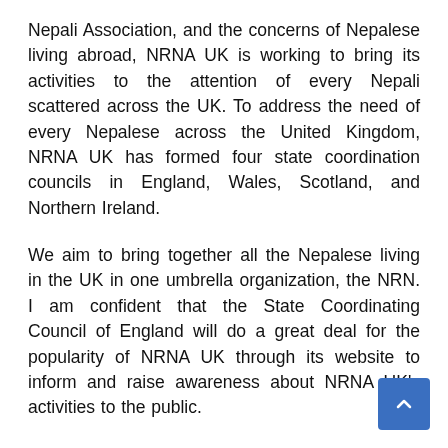Nepali Association, and the concerns of Nepalese living abroad, NRNA UK is working to bring its activities to the attention of every Nepali scattered across the UK. To address the need of every Nepalese across the United Kingdom, NRNA UK has formed four state coordination councils in England, Wales, Scotland, and Northern Ireland.
We aim to bring together all the Nepalese living in the UK in one umbrella organization, the NRN. I am confident that the State Coordinating Council of England will do a great deal for the popularity of NRNA UK through its website to inform and raise awareness about NRNA UK's activities to the public.
I want to extend my heartfelt congratulations to Lal Bahadur Gurung, the present Chairman of the State Coordinating Council of England, and the entire Working Committee for their continued support in this endeavor.